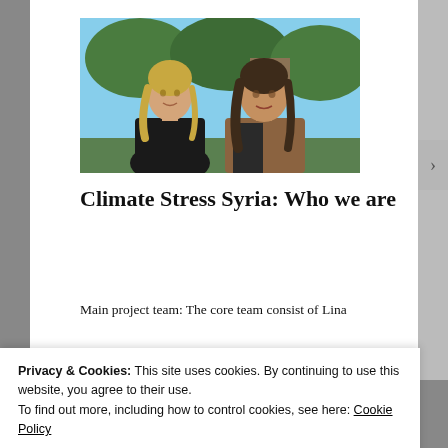[Figure (photo): Two young women standing outdoors smiling, one with blonde hair in black top, one with dark hair in brown cardigan, green trees in background]
Climate Stress Syria: Who we are
Main project team: The core team consist of Lina
Privacy & Cookies: This site uses cookies. By continuing to use this website, you agree to their use.
To find out more, including how to control cookies, see here: Cookie Policy
Close and accept